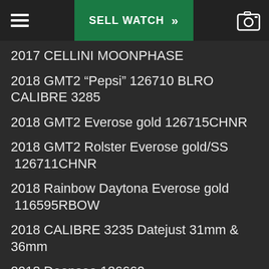SELL WATCH
2017 CELLINI MOONPHASE
2018 GMT2 “Pepsi” 126710 BLRO  CALIBRE 3285
2018 GMT2 Everose gold 126715CHNR
2018 GMT2 Rolster Everose gold/SS  126711CHNR
2018 Rainbow Daytona Everose gold  116595RBOW
2018 CALIBRE 3235 Datejust 31mm & 36mm
2018 Deepsea 126660
2019 Yacht-master 42mm White gold